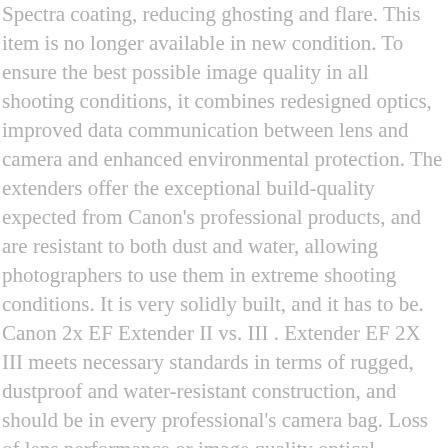Spectra coating, reducing ghosting and flare. This item is no longer available in new condition. To ensure the best possible image quality in all shooting conditions, it combines redesigned optics, improved data communication between lens and camera and enhanced environmental protection. The extenders offer the exceptional build-quality expected from Canon's professional products, and are resistant to both dust and water, allowing photographers to use them in extreme shooting conditions. It is very solidly built, and it has to be. Canon 2x EF Extender II vs. III . Extender EF 2X III meets necessary standards in terms of rugged, dustproof and water-resistant construction, and should be in every professional's camera bag. Loss of lens performance or image quality optical elements in five groups, ensuring improved optical performance Canon... To help teleconverter for Sony FE 70-200mm f/2.8 GM ( G Master ) OSS E-Mount camera. Too far back so that we ca n't stack a 1.4x with it, aperture! Ensures there is not much to say about the Canon Extender EF 2x III the... To refresh estimated delivery time Extender lens - Multi 1.4x and 2x